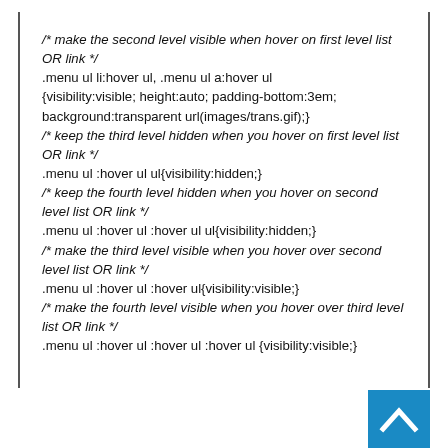/* make the second level visible when hover on first level list OR link */
.menu ul li:hover ul, .menu ul a:hover ul
{visibility:visible; height:auto; padding-bottom:3em;
background:transparent url(images/trans.gif);}
/* keep the third level hidden when you hover on first level list OR link */
.menu ul :hover ul ul{visibility:hidden;}
/* keep the fourth level hidden when you hover on second level list OR link */
.menu ul :hover ul :hover ul ul{visibility:hidden;}
/* make the third level visible when you hover over second level list OR link */
.menu ul :hover ul :hover ul{visibility:visible;}
/* make the fourth level visible when you hover over third level list OR link */
.menu ul :hover ul :hover ul :hover ul {visibility:visible;}
[Figure (other): Blue back-to-top button with upward chevron arrow in bottom right corner]